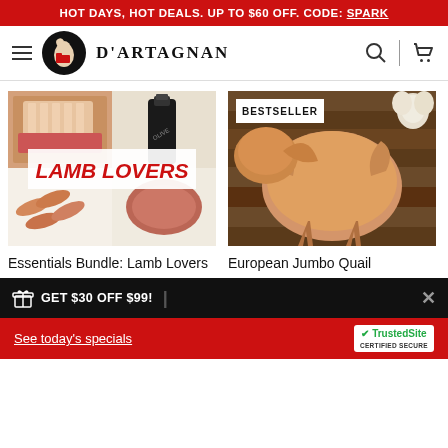HOT DAYS, HOT DEALS. UP TO $60 OFF. CODE: SPARK
[Figure (logo): D'Artagnan brand logo with navigation bar including hamburger menu, circular logo, brand name, search icon, and cart icon]
[Figure (photo): Collage of lamb products: rack of lamb, olive oil bottle, lamb sausages, and ground lamb with text overlay 'LAMB LOVERS']
Essentials Bundle: Lamb Lovers
[Figure (photo): Raw quail birds arranged on a wooden cutting board with garlic, labeled BESTSELLER]
European Jumbo Quail
GET $30 OFF $99!
See today's specials